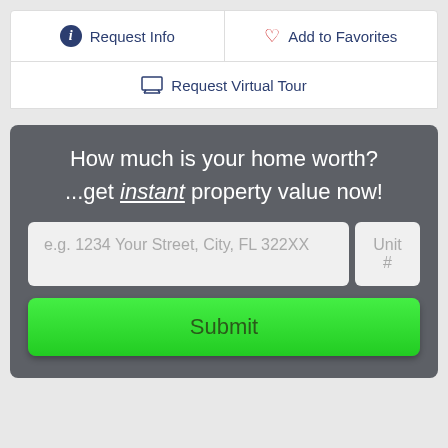Request Info
Add to Favorites
Request Virtual Tour
How much is your home worth?
...get instant property value now!
e.g. 1234 Your Street, City, FL 322XX
Unit #
Submit